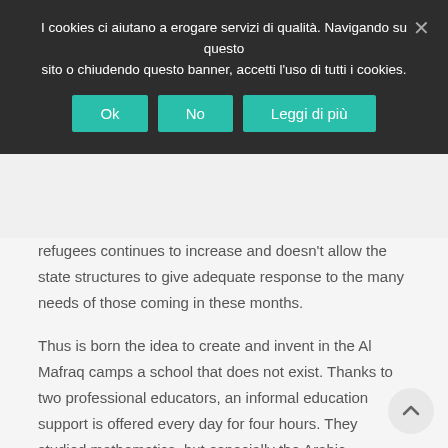I cookies ci aiutano a erogare servizi di qualità. Navigando su questo sito o chiudendo questo banner, accetti l'uso di tutti i cookies.
Ok | No | Leggi di più
refugees continues to increase and doesn't allow the state structures to give adequate response to the many needs of those coming in these months.
Thus is born the idea to create and invent in the Al Mafraq camps a school that does not exist. Thanks to two professional educators, an informal education support is offered every day for four hours. They studied mathematics, but especially the Arabic language, written and spoken. Parents fear that when their children will finally return in a real school will be disadvantaged compared to other children, because this war has made them lose precious months and years of training. School hours are so dense of study